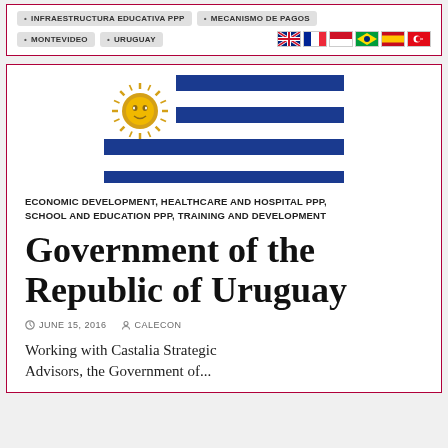INFRAESTRUCTURA EDUCATIVA PPP
MECANISMO DE PAGOS
MONTEVIDEO
URUGUAY
[Figure (illustration): Uruguay flag with sun emblem on left and blue and white horizontal stripes on right]
ECONOMIC DEVELOPMENT, HEALTHCARE AND HOSPITAL PPP, SCHOOL AND EDUCATION PPP, TRAINING AND DEVELOPMENT
Government of the Republic of Uruguay
JUNE 15, 2016   CALECON
Working with Castalia Strategic Advisors, the Government of...